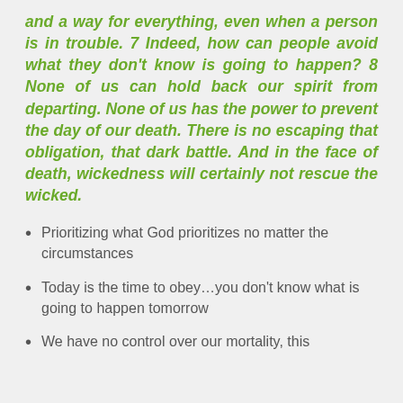and a way for everything, even when a person is in trouble. 7 Indeed, how can people avoid what they don't know is going to happen? 8 None of us can hold back our spirit from departing. None of us has the power to prevent the day of our death. There is no escaping that obligation, that dark battle. And in the face of death, wickedness will certainly not rescue the wicked.
Prioritizing what God prioritizes no matter the circumstances
Today is the time to obey…you don't know what is going to happen tomorrow
We have no control over our mortality, this